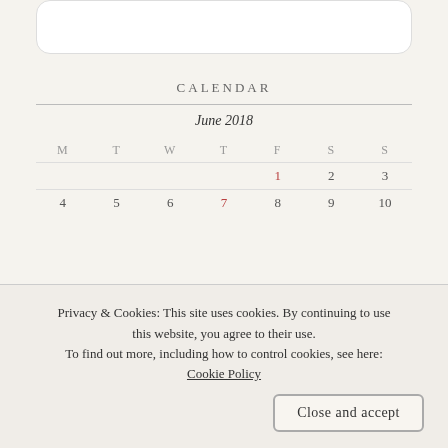[Figure (screenshot): Partial top rounded white box, cropped at top of page]
CALENDAR
June 2018
| M | T | W | T | F | S | S |
| --- | --- | --- | --- | --- | --- | --- |
|  |  |  |  | 1 | 2 | 3 |
| 4 | 5 | 6 | 7 | 8 | 9 | 10 |
Privacy & Cookies: This site uses cookies. By continuing to use this website, you agree to their use.
To find out more, including how to control cookies, see here: Cookie Policy
Close and accept